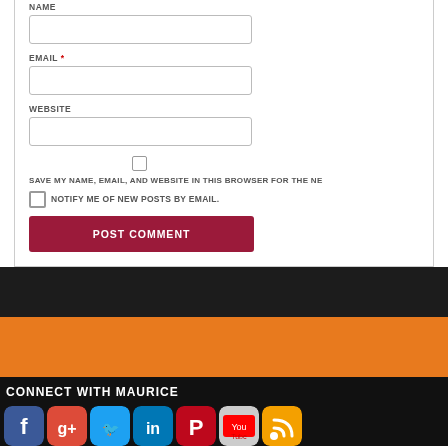NAME
EMAIL *
WEBSITE
SAVE MY NAME, EMAIL, AND WEBSITE IN THIS BROWSER FOR THE NE...
NOTIFY ME OF NEW POSTS BY EMAIL.
POST COMMENT
CONNECT WITH MAURICE
[Figure (other): Social media icons: Facebook, Google+, Twitter, LinkedIn, Pinterest, YouTube, RSS]